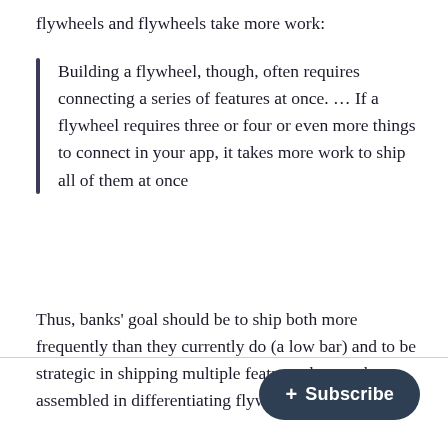flywheels and flywheels take more work:
Building a flywheel, though, often requires connecting a series of features at once. … If a flywheel requires three or four or even more things to connect in your app, it takes more work to ship all of them at once
Thus, banks' goal should be to ship both more frequently than they currently do (a low bar) and to be strategic in shipping multiple features that can be assembled in differentiating flywheels.4